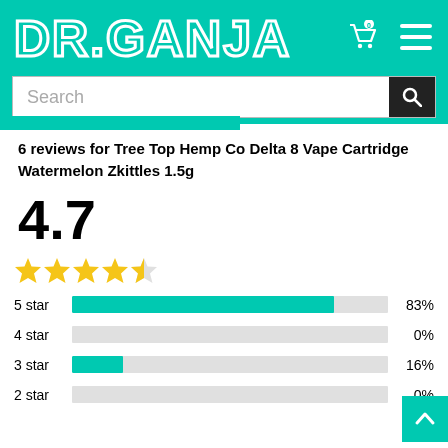[Figure (logo): DR.GANJA logo in white outline text on teal background with shopping cart icon showing 0 items and hamburger menu icon]
Search
6 reviews for Tree Top Hemp Co Delta 8 Vape Cartridge Watermelon Zkittles 1.5g
4.7
[Figure (infographic): 4.7 out of 5 stars rating shown as 5 gold stars (4 full, 1 half)]
[Figure (bar-chart): Star rating distribution]